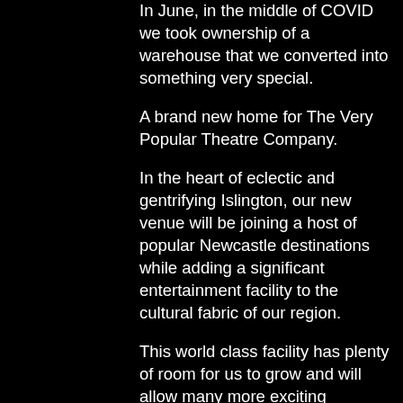In June, in the middle of COVID we took ownership of a warehouse that we converted into something very special.
A brand new home for The Very Popular Theatre Company.
In the heart of eclectic and gentrifying Islington, our new venue will be joining a host of popular Newcastle destinations while adding a significant entertainment facility to the cultural fabric of our region.
This world class facility has plenty of room for us to grow and will allow many more exciting ventures into the future. The facility consists of three large studios for us to run workshops and to rehearse all of our major productions and events, a new foyer space including a laptop workstation, iphone charging stations and a gallery installation featuring significant events from throughout Very Popular Theatre Company history. The facility also has a shop where you can come and browse a huge range of play scripts and stage and book from you from...